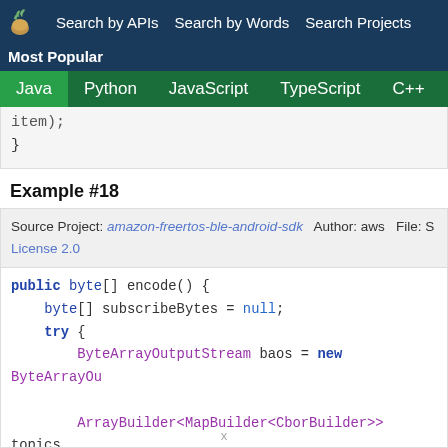Search by APIs  Search by Words  Search Projects  Most Popular  Java  Python  JavaScript  TypeScript  C++  Scala
item);
}
Example #18
Source Project: amazon-freertos-ble-android-sdk  Author: aws  File: S  License 2.0
public byte[] encode() {
    byte[] subscribeBytes = null;
    try {
        ByteArrayOutputStream baos = new ByteArrayOu

        ArrayBuilder<MapBuilder<CborBuilder>> topics
            .addMap()